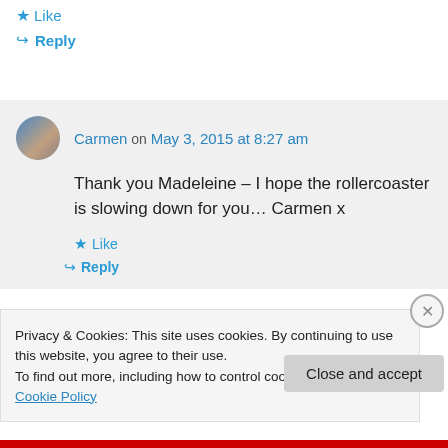★ Like
↪ Reply
Carmen on May 3, 2015 at 8:27 am
Thank you Madeleine – I hope the rollercoaster is slowing down for you… Carmen x
★ Like
↪ Reply
Privacy & Cookies: This site uses cookies. By continuing to use this website, you agree to their use.
To find out more, including how to control cookies, see here: Cookie Policy
Close and accept